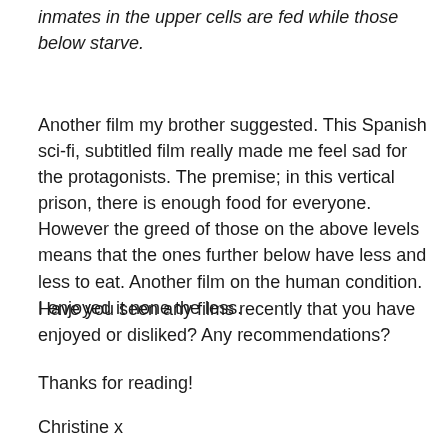inmates in the upper cells are fed while those below starve.
Another film my brother suggested. This Spanish sci-fi, subtitled film really made me feel sad for the protagonists. The premise; in this vertical prison, there is enough food for everyone. However the greed of those on the above levels means that the ones further below have less and less to eat. Another film on the human condition. I enjoyed it none the less.
Have you seen any films recently that you have enjoyed or disliked? Any recommendations?
Thanks for reading!
Christine x